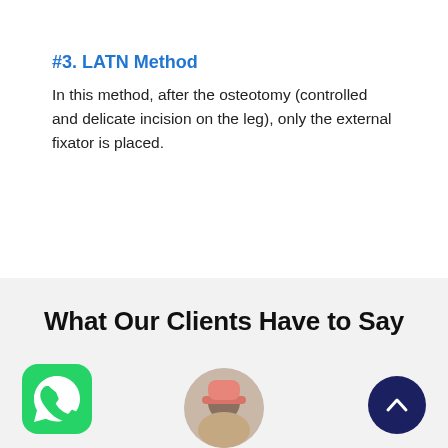#3. LATN Method
In this method, after the osteotomy (controlled and delicate incision on the leg), only the external fixator is placed.
What Our Clients Have to Say
[Figure (photo): Circular avatar photo of a person wearing a pink cap, partially visible at the bottom of the page]
[Figure (logo): WhatsApp green app icon button in bottom left]
[Figure (other): Dark navy blue circle with upward chevron arrow in bottom right corner]